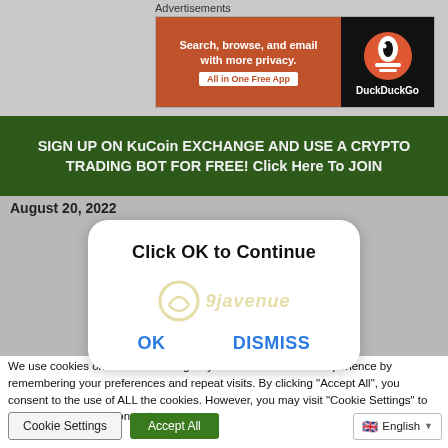Advertisements
[Figure (screenshot): DuckDuckGo advertisement banner: 'Search, browse, and email with more privacy. All in One Free App' on orange background with DuckDuckGo logo on dark background.]
[Figure (screenshot): Green banner: SIGN UP ON KuCoin EXCHANGE AND USE A CRYPTO TRADING BOT FOR FREE! Click Here To JOIN]
August 20, 2022
[Figure (screenshot): Modal dialog box with title 'Click OK to Continue', watermark '9javenue', and two buttons: OK and DISMISS]
We use cookies on our website to give you the most relevant experience by remembering your preferences and repeat visits. By clicking "Accept All", you consent to the use of ALL the cookies. However, you may visit "Cookie Settings" to provide a controlled consent.
Cookie Settings   Accept All   English